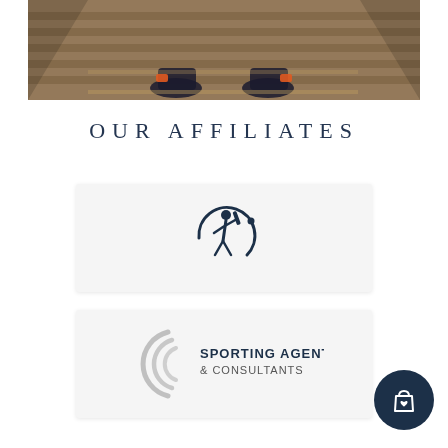[Figure (photo): Top banner photo showing a person sitting on bleachers/stadium steps, feet visible wearing sneakers with orange socks]
OUR AFFILIATES
[Figure (logo): Cricket player silhouette inside a circular arc logo (dark navy)]
[Figure (logo): Sporting Agents & Consultants logo with grey concentric arc marks and dark text]